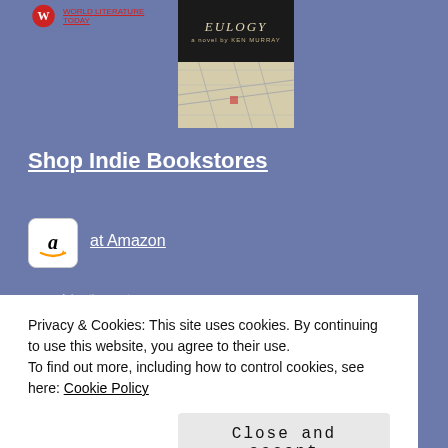[Figure (logo): Red circular logo icon with text link in red]
[Figure (photo): Book cover for 'EULOGY a novel by Ken Murray' with dark top half and map image on bottom half]
Shop Indie Bookstores
[Figure (logo): Amazon logo 'a' icon in white rounded square box]
at Amazon
Advertisements
[Figure (screenshot): Orange/red advertisement banner with text 'Search, browse, and' and a phone graphic on right]
Privacy & Cookies: This site uses cookies. By continuing to use this website, you agree to their use.
To find out more, including how to control cookies, see here: Cookie Policy
Close and accept